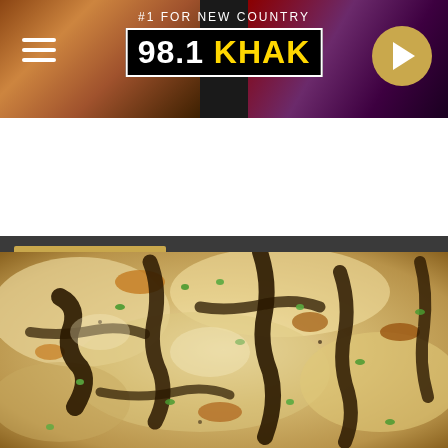[Figure (screenshot): 98.1 KHAK radio station header banner with logo, hamburger menu, and play button]
LISTEN NOW  98.1 KHAK
Share  Tweet
[Figure (photo): Close-up photo of a cheesy baked dish with mushrooms and green onions, golden-brown melted cheese on top]